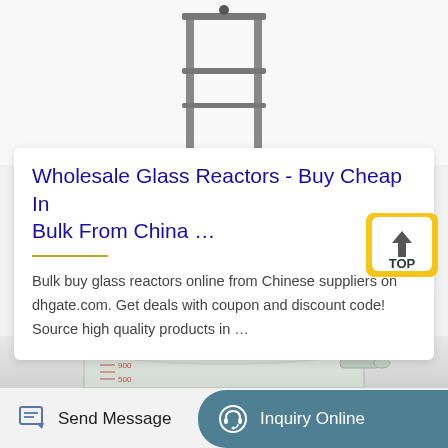[Figure (photo): Photo of a glass reactor apparatus on a metal stand, partially cropped at top of page]
Wholesale Glass Reactors - Buy Cheap In Bulk From China …
Bulk buy glass reactors online from Chinese suppliers on dhgate.com. Get deals with coupon and discount code! Source high quality products in …
[Figure (photo): Close-up photo of a large glass reactor vessel with measurement markings and a side outlet tube]
[Figure (logo): TOP navigation button with yellow background and upward arrow]
Send Message
Inquiry Online